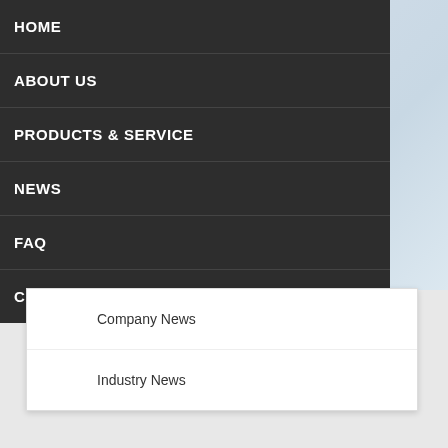HOME
ABOUT US
PRODUCTS & SERVICE
NEWS
FAQ
CONTACT US
Company News
Industry News